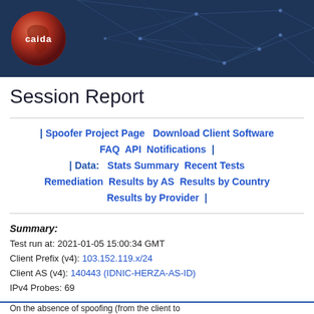[Figure (logo): CAIDA logo — orange globe with network graph background on dark navy banner]
Session Report
| Spoofer Project Page   Download Client Software   FAQ   API   Notifications   |   | Data:   Stats Summary   Recent Tests   Remediation   Results by AS   Results by Country   Results by Provider   |
Summary:
Test run at: 2021-01-05 15:00:34 GMT
Client Prefix (v4): 103.152.119.x/24
Client AS (v4): 140443 (IDNIC-HERZA-AS-ID)
IPv4 Probes: 69